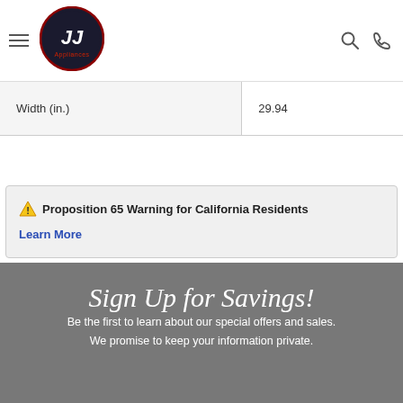JJ Appliances
|  |  |
| --- | --- |
| Width (in.) | 29.94 |
⚠ Proposition 65 Warning for California Residents
Learn More
Sign Up for Savings!
Be the first to learn about our special offers and sales. We promise to keep your information private.